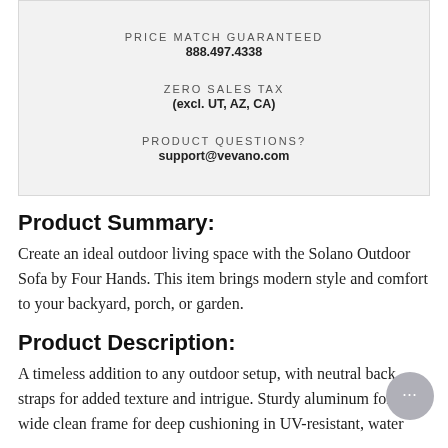PRICE MATCH GUARANTEED
888.497.4338
ZERO SALES TAX
(excl. UT, AZ, CA)
PRODUCT QUESTIONS?
support@vevano.com
Product Summary:
Create an ideal outdoor living space with the Solano Outdoor Sofa by Four Hands. This item brings modern style and comfort to your backyard, porch, or garden.
Product Description:
A timeless addition to any outdoor setup, with neutral back straps for added texture and intrigue. Sturdy aluminum forms a wide clean frame for deep cushioning in UV-resistant, water